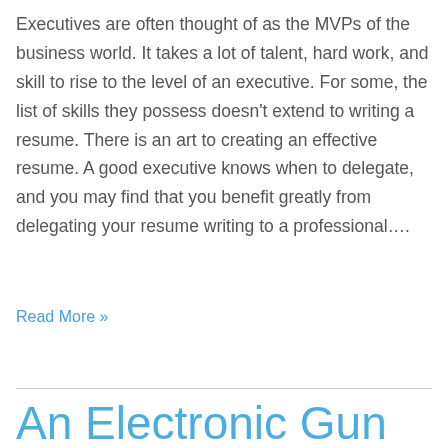Executives are often thought of as the MVPs of the business world. It takes a lot of talent, hard work, and skill to rise to the level of an executive. For some, the list of skills they possess doesn't extend to writing a resume. There is an art to creating an effective resume. A good executive knows when to delegate, and you may find that you benefit greatly from delegating your resume writing to a professional….
Read More »
An Electronic Gun